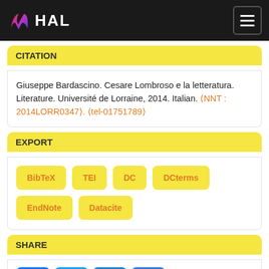HAL
CITATION
Giuseppe Bardascino. Cesare Lombroso e la letteratura. Literature. Université de Lorraine, 2014. Italian. ⟨NNT : 2014LORR0347⟩. ⟨tel-01751789⟩
EXPORT
BibTeX   TEI   DC   DCterms   EndNote   Datacite
SHARE
[Figure (infographic): Social share icons: Facebook, Twitter, Email, More/Plus]
METRICS
Record views